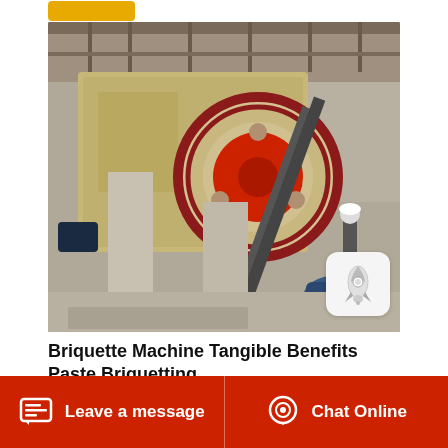[Figure (photo): Industrial jaw crusher / briquette machine installed at a mining or quarry site, with large red flywheel visible, electric motor at bottom right, concrete base, metal railings above, and a worker in hard hat standing nearby.]
Briquette Machine Tangible Benefits Paste Briquetting
Leave a message   Chat Online